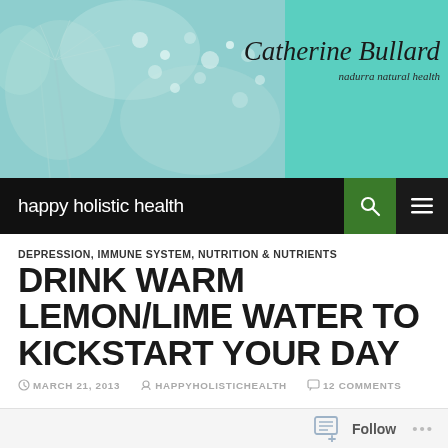[Figure (photo): Blog header banner with dandelion water droplets image on teal/mint background, Catherine Bullard brand name and 'nadurra natural health' subtitle on right side]
happy holistic health
DEPRESSION, IMMUNE SYSTEM, NUTRITION & NUTRIENTS
DRINK WARM LEMON/LIME WATER TO KICKSTART YOUR DAY
MARCH 21, 2013  HAPPYHOLISTICHEALTH  12 COMMENTS
Follow